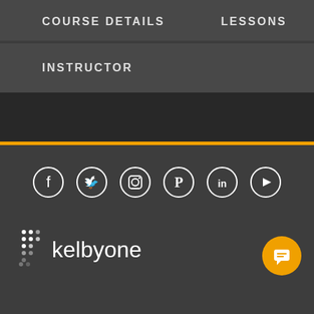COURSE DETAILS   LESSONS
INSTRUCTOR
[Figure (screenshot): Dark band with orange horizontal divider line]
[Figure (infographic): Row of six social media icons in white circles: Facebook, Twitter, Instagram, Pinterest, LinkedIn, YouTube]
[Figure (logo): KelbyOne logo with dot-pattern K icon and white wordmark on dark background]
[Figure (other): Orange circular chat/support button with white chat icon, bottom right]